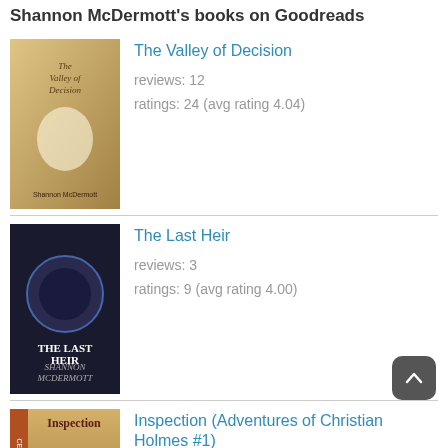Shannon McDermott's books on Goodreads
The Valley of Decision
reviews: 12
ratings: 24 (avg rating 4.04)
The Last Heir
reviews: 3
ratings: 9 (avg rating 4.00)
Inspection (Adventures of Christian Holmes #1)
reviews: 4
ratings: 8 (avg rating 4.12)
Sweet Green Paper (Adventures of Christian Holmes 2)
reviews: 3
ratings: 6 (avg rating 4.33)
The Beauty of the Lilies